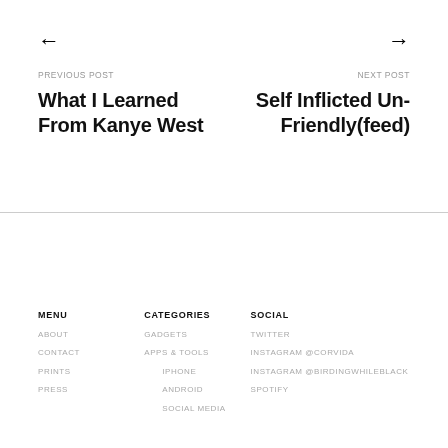← (left arrow)
→ (right arrow)
PREVIOUS POST
What I Learned From Kanye West
NEXT POST
Self Inflicted Un-Friendly(feed)
MENU
CATEGORIES
SOCIAL
ABOUT
GADGETS
TWITTER
CONTACT
APPS & TOOLS
INSTAGRAM @CORVIDA
PRINTS
IPHONE
INSTAGRAM @BIRDINGWHILEBLACK
PRESS
ANDROID
SPOTIFY
SOCIAL MEDIA